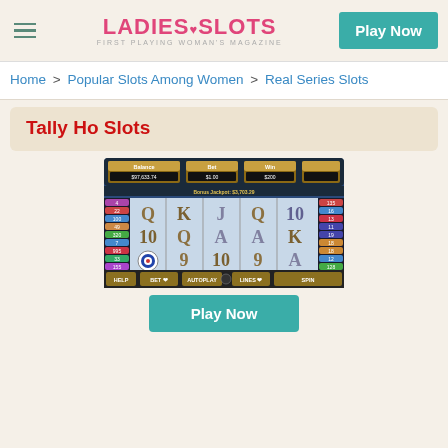Ladies Slots - First Playing Woman's Magazine | Play Now
Home > Popular Slots Among Women > Real Series Slots
Tally Ho Slots
[Figure (screenshot): Screenshot of the Tally Ho Slots game showing a 5-reel slot machine with card symbols (Q, K, J, A, 10, 9) and a target/bullseye symbol. Balance: $97,633.74, Bet: $1.00, Bonus Jackpot: $3,703.29. Buttons at bottom: HELP, BET, AUTOPLAY, LINES, SPIN.]
Play Now